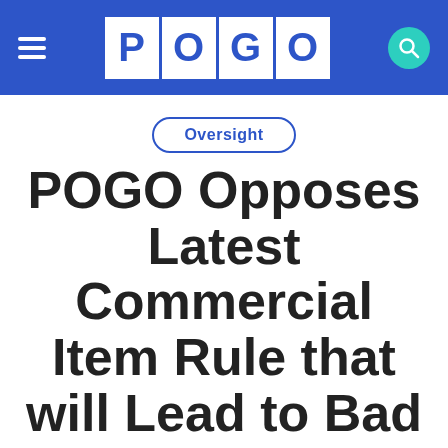POGO
Oversight
POGO Opposes Latest Commercial Item Rule that will Lead to Bad Deals